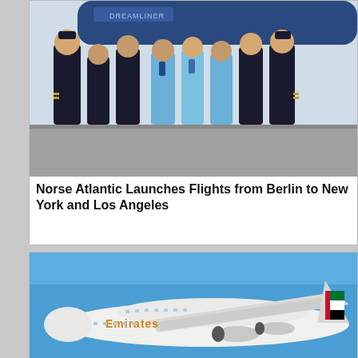[Figure (photo): Group photo of Norse Atlantic Airways flight crew (pilots in dark uniforms with gold stripes, flight attendants in light blue uniforms) posing on airport tarmac in front of a Boeing Dreamliner aircraft]
Norse Atlantic Launches Flights from Berlin to New York and Los Angeles
[Figure (photo): Emirates Airbus A380 aircraft in flight against a clear blue sky, showing the distinctive Emirates livery with red, green and white flag design on the tail]